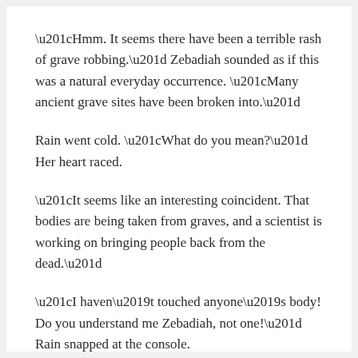“Hmm. It seems there have been a terrible rash of grave robbing.” Zebadiah sounded as if this was a natural everyday occurrence. “Many ancient grave sites have been broken into.”
Rain went cold. “What do you mean?” Her heart raced.
“It seems like an interesting coincident. That bodies are being taken from graves, and a scientist is working on bringing people back from the dead.”
“I haven’t touched anyone’s body! Do you understand me Zebadiah, not one!” Rain snapped at the console.